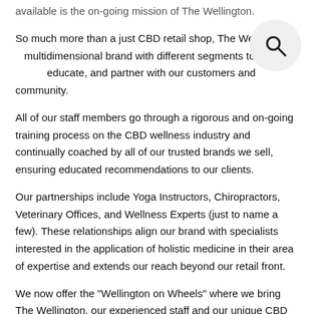available is the on-going mission of The Wellington.
So much more than a just CBD retail shop, The Wellington is a multidimensional brand with different segments to help serve, educate, and partner with our customers and community.
All of our staff members go through a rigorous and on-going training process on the CBD wellness industry and continually coached by all of our trusted brands we sell, ensuring educated recommendations to our clients.
Our partnerships include Yoga Instructors, Chiropractors, Veterinary Offices, and Wellness Experts (just to name a few). These relationships align our brand with specialists interested in the application of holistic medicine in their area of expertise and extends our reach beyond our retail front.
We now offer the "Wellington on Wheels" where we bring The Wellington, our experienced staff and our unique CBD products to you! So whether you are looking for an educational question